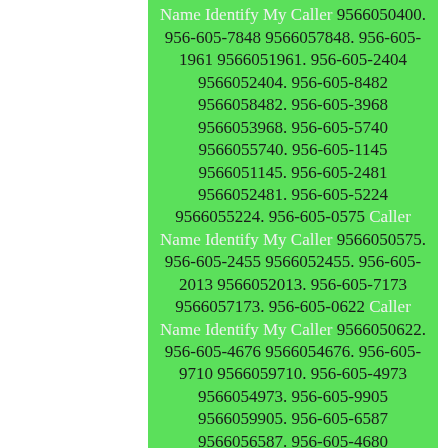9566052795. 956-605-0400 Caller Name Identify My Caller 9566050400. 956-605-7848 9566057848. 956-605-1961 9566051961. 956-605-2404 9566052404. 956-605-8482 9566058482. 956-605-3968 9566053968. 956-605-5740 9566055740. 956-605-1145 9566051145. 956-605-2481 9566052481. 956-605-5224 9566055224. 956-605-0575 Caller Name Identify My Caller 9566050575. 956-605-2455 9566052455. 956-605-2013 9566052013. 956-605-7173 9566057173. 956-605-0622 Caller Name Identify My Caller 9566050622. 956-605-4676 9566054676. 956-605-9710 9566059710. 956-605-4973 9566054973. 956-605-9905 9566059905. 956-605-6587 9566056587. 956-605-4680 9566054680. 956-605-2550 9566052550. 956-605-4490 9566054490. 956-605-6370 9566056370. 956-605-8966 9566058966. 956-605-8086 9566058086.